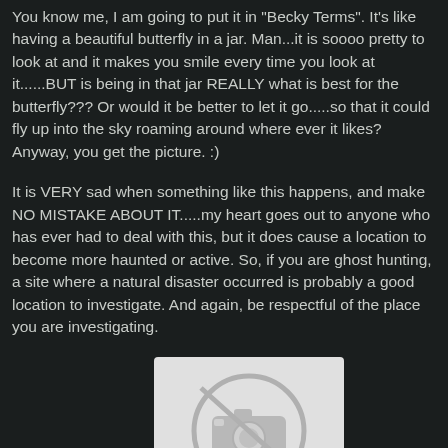You know me, I am going to put it in "Becky Terms". It's like having a beautiful butterfly in a jar. Man...it is soooo pretty to look at and it makes you smile every time you look at it......BUT is being in that jar REALLY what is best for the butterfly??? Or would it be better to let it go.....so that it could fly up into the sky roaming around where ever it likes? Anyway, you get the picture. :)
It is VERY sad when something like this happens, and make NO MISTAKE ABOUT IT.....my heart goes out to anyone who has ever had to deal with this, but it does cause a location to become more haunted or active. So, if you are ghost hunting, a site where a natural disaster occurred is probably a good location to investigate. And again, be respectful of the place you are investigating.
[Figure (photo): A placeholder image showing a camera icon inside a circle with a line through it, indicating a missing or unavailable image, on a light gray background.]